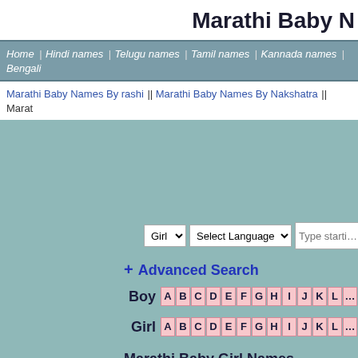Marathi Baby N…
Home | Hindi names | Telugu names | Tamil names | Kannada names | Bengali…
Marathi Baby Names By rashi || Marathi Baby Names By Nakshatra || Marat…
Girl [dropdown] Select Language [dropdown] Type starti…
+ Advanced Search
Boy A B C D E F G H I J K L …
Girl A B C D E F G H I J K L …
Marathi Baby Girl Names Startin…
| Name | In Marathi | Meani… |
| --- | --- | --- |